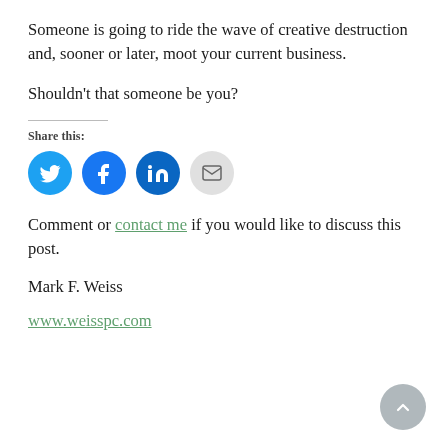Someone is going to ride the wave of creative destruction and, sooner or later, moot your current business.
Shouldn't that someone be you?
Share this:
[Figure (infographic): Four social share icon buttons: Twitter (blue), Facebook (blue), LinkedIn (dark blue), Email (grey)]
Comment or contact me if you would like to discuss this post.
Mark F. Weiss
www.weisspc.com